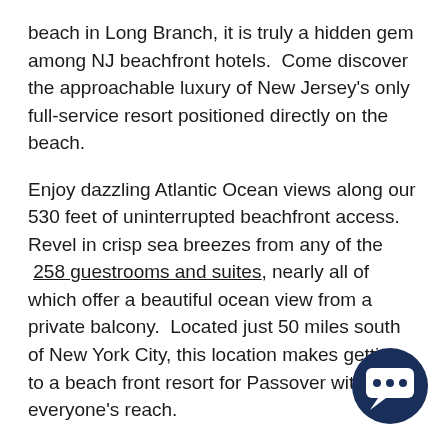beach in Long Branch, it is truly a hidden gem among NJ beachfront hotels. Come discover the approachable luxury of New Jersey's only full-service resort positioned directly on the beach.
Enjoy dazzling Atlantic Ocean views along our 530 feet of uninterrupted beachfront access. Revel in crisp sea breezes from any of the 258 guestrooms and suites, nearly all of which offer a beautiful ocean view from a private balcony. Located just 50 miles south of New York City, this location makes getting to a beach front resort for Passover within everyone's reach.
The guestrooms are inspired by the magnificence of the Atlantic. The simple yet modern furnishings create a refined and approachable atmosphere. Each guestroom has a private balcony with a sliding glass door to expand the space and bring natural light